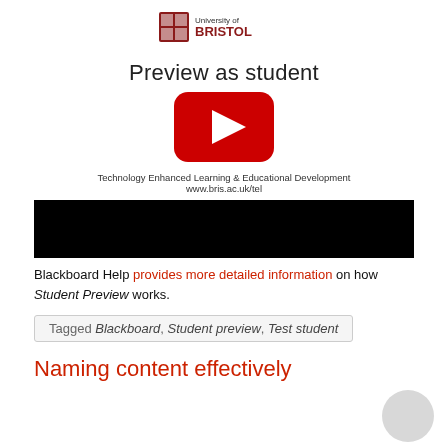[Figure (logo): University of Bristol logo with coat of arms and text]
Preview as student
[Figure (other): YouTube play button overlay on video thumbnail]
Technology Enhanced Learning & Educational Development
www.bris.ac.uk/tel
[Figure (screenshot): Black video player area]
Blackboard Help provides more detailed information on how Student Preview works.
Tagged Blackboard, Student preview, Test student
Naming content effectively